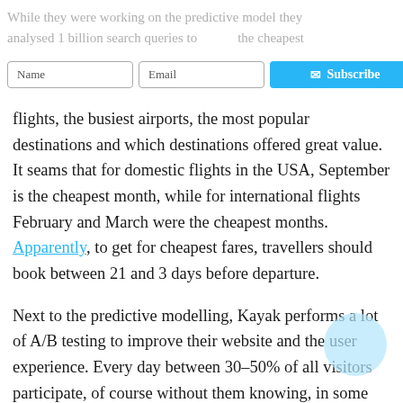While they were working on the predictive model they analysed 1 billion search queries to find the cheapest flights, the busiest airports, the most popular destinations and which destinations offered great value. It seams that for domestic flights in the USA, September is the cheapest month, while for international flights February and March were the cheapest months. Apparently, to get for cheapest fares, travellers should book between 21 and 3 days before departure.
Next to the predictive modelling, Kayak performs a lot of A/B testing to improve their website and the user experience. Every day between 30–50% of all visitors participate, of course without them knowing, in some sort of test. The tests are used to determine a cause-and-effect relationship behind which features provide the best